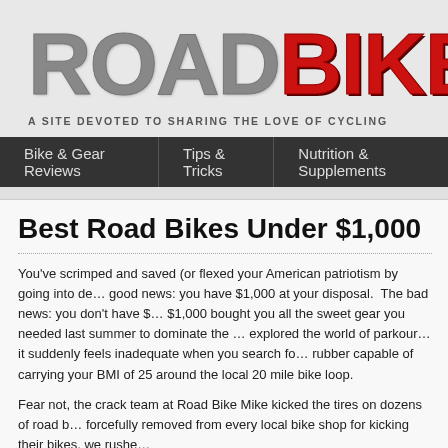ROADBIKE
A SITE DEVOTED TO SHARING THE LOVE OF CYCLING
Bike & Gear Reviews | Tips & Tricks | Nutrition & Supplements
Best Road Bikes Under $1,000
You've scrimped and saved (or flexed your American patriotism by going into de… good news: you have $1,000 at your disposal.  The bad news: you don't have $… $1,000 bought you all the sweet gear you needed last summer to dominate the … explored the world of parkour…it suddenly feels inadequate when you search fo… rubber capable of carrying your BMI of 25 around the local 20 mile bike loop.
Fear not, the crack team at Road Bike Mike kicked the tires on dozens of road b… forcefully removed from every local bike shop for kicking their bikes, we rushe…